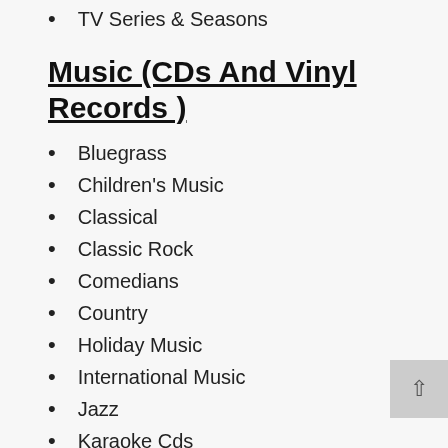TV Series & Seasons
Music (CDs And Vinyl Records )
Bluegrass
Children's Music
Classical
Classic Rock
Comedians
Country
Holiday Music
International Music
Jazz
Karaoke Cds
Latin